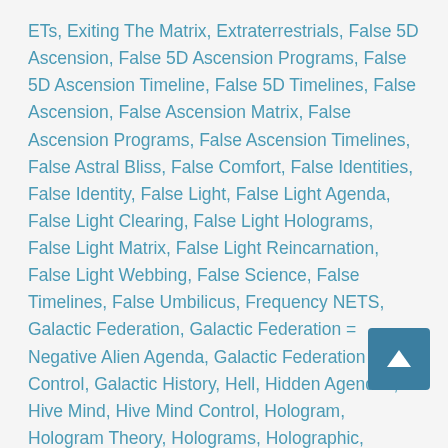ETs, Exiting The Matrix, Extraterrestrials, False 5D Ascension, False 5D Ascension Programs, False 5D Ascension Timeline, False 5D Timelines, False Ascension, False Ascension Matrix, False Ascension Programs, False Ascension Timelines, False Astral Bliss, False Comfort, False Identities, False Identity, False Light, False Light Agenda, False Light Clearing, False Light Holograms, False Light Matrix, False Light Reincarnation, False Light Webbing, False Science, False Timelines, False Umbilicus, Frequency NETS, Galactic Federation, Galactic Federation = Negative Alien Agenda, Galactic Federation Mind Control, Galactic History, Hell, Hidden Agendas, Hive Mind, Hive Mind Control, Hologram, Hologram Theory, Holograms, Holographic, Holographic Constructs, Holographic Field, Holographic Illusion, Holographic Inserts, Holographic Matrix, Holographic Reality, Holographic Tree of Life, Holographic Universe, How To Exit The Matrix, Illusions, Implants, Inorganic, Inorganic Ascension, Inorganic Structures, Inorganic Timelines, Lisa Renee, Machine Mind, Machined Consciousness, Matrix, Merkaba, Merkaba Field, Metaphysical
[Figure (other): Scroll-to-top button arrow icon in dark teal/blue square]